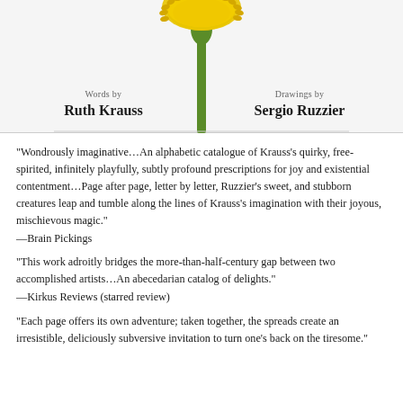[Figure (illustration): Botanical illustration of a dandelion flower with yellow head and green stem, centered at top of page. 'Words by Ruth Krauss' on left and 'Drawings by Sergio Ruzzier' on right below the illustration.]
“Wondrously imaginative…An alphabetic catalogue of Krauss’s quirky, free-spirited, infinitely playfully, subtly profound prescriptions for joy and existential contentment…Page after page, letter by letter, Ruzzier’s sweet, and stubborn creatures leap and tumble along the lines of Krauss’s imagination with their joyous, mischievous magic.”
—Brain Pickings
“This work adroitly bridges the more-than-half-century gap between two accomplished artists…An abecedarian catalog of delights.”
—Kirkus Reviews (starred review)
“Each page offers its own adventure; taken together, the spreads create an irresistible, deliciously subversive invitation to turn one’s back on the tiresome.”